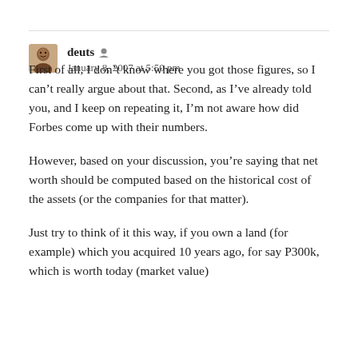[Figure (illustration): User avatar thumbnail image of a person in a reddish-brown square.]
deuts
January 8, 2007 at 5:50 pm
First of all, I don't know where you got those figures, so I can't really argue about that. Second, as I've already told you, and I keep on repeating it, I'm not aware how did Forbes come up with their numbers.
However, based on your discussion, you're saying that net worth should be computed based on the historical cost of the assets (or the companies for that matter).
Just try to think of it this way, if you own a land (for example) which you acquired 10 years ago, for say P300k, which is worth today (market value)